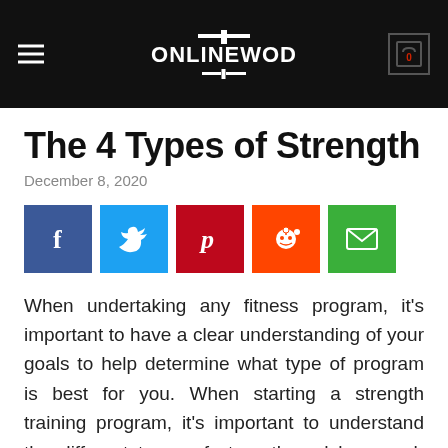ONLINEWOD
The 4 Types of Strength
December 8, 2020
[Figure (infographic): Social sharing buttons: Facebook, Twitter, Pinterest, Reddit, Email]
When undertaking any fitness program, it's important to have a clear understanding of your goals to help determine what type of program is best for you. When starting a strength training program, it's important to understand the different types of strength and how each type of strength is developed.